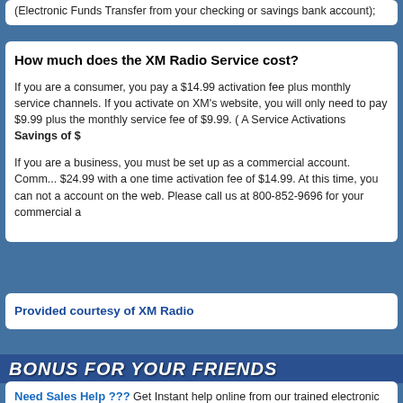(Electronic Funds Transfer from your checking or savings bank account);
How much does the XM Radio Service cost?
If you are a consumer, you pay a $14.99 activation fee plus monthly service channels. If you activate on XM's website, you will only need to pay $9.99 plus the monthly service fee of $9.99. ( A Service Activations Savings of $
If you are a business, you must be set up as a commercial account. Commercial accounts are $24.99 with a one time activation fee of $14.99. At this time, you can not activate a commercial account on the web. Please call us at 800-852-9696 for your commercial a
Provided courtesy of XM Radio
BONUS FOR YOUR FRIENDS
Need Sales Help ??? Get Instant help online from our trained electronic specialists. 24 hours per day 7 Days per week